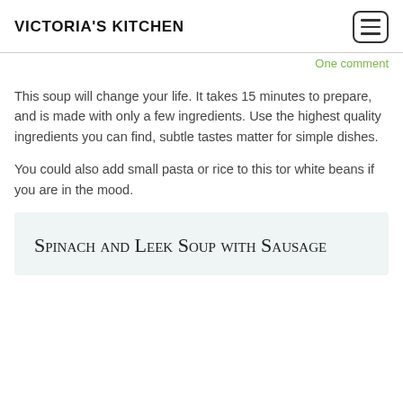VICTORIA'S KITCHEN
One comment
This soup will change your life. It takes 15 minutes to prepare, and is made with only a few ingredients. Use the highest quality ingredients you can find, subtle tastes matter for simple dishes.
You could also add small pasta or rice to this tor white beans if you are in the mood.
Spinach and Leek Soup with Sausage